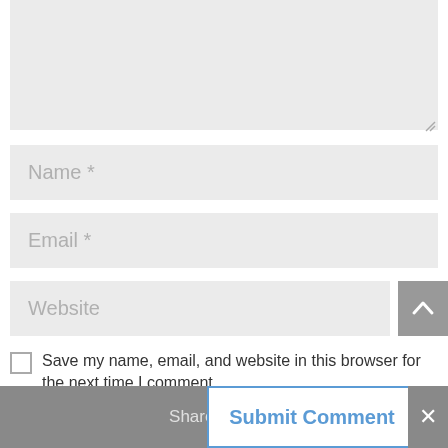[Figure (screenshot): A comment text area input box with gray background, partially visible at top]
Name *
Email *
Website
Save my name, email, and website in this browser for the next time I comment.
Submit Comment
Share This